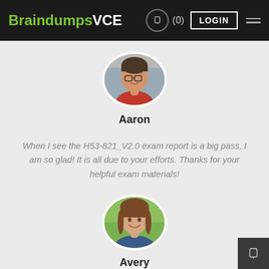BraindumpsVCE (0) LOGIN
[Figure (photo): Circular profile photo of Aaron, a young man with glasses and dark hair wearing a red shirt, smiling]
Aaron
When I see the H53-821_V2.0 exam report is a big pass, I am so glad! It is all due to your efforts. Thanks for your helpful exam materials!
[Figure (photo): Circular profile photo of Avery, a young woman with brown hair smiling, outdoors with green background]
Avery